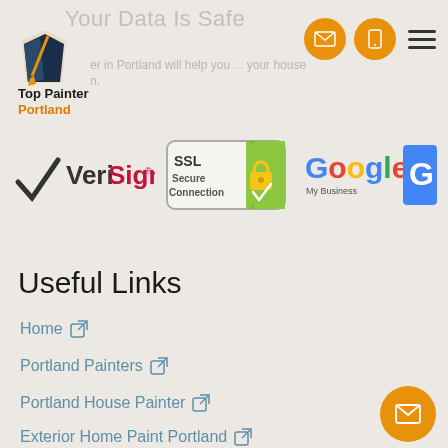Your Data Is Safe
[Figure (logo): Top Painter Portland logo with orange and dark blue paint can icon and text 'Top Painter Portland']
er in Portland will help you... your house n.
[Figure (logo): VeriSign logo]
[Figure (logo): SSL Secure Connection badge with padlock]
[Figure (logo): Google My Business logo]
Useful Links
Home
Portland Painters
Portland House Painter
Exterior Home Paint Portland